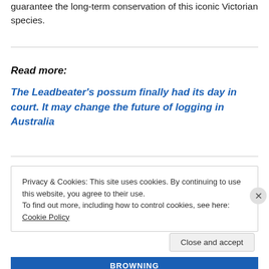guarantee the long-term conservation of this iconic Victorian species.
Read more:
The Leadbeater's possum finally had its day in court. It may change the future of logging in Australia
Privacy & Cookies: This site uses cookies. By continuing to use this website, you agree to their use.
To find out more, including how to control cookies, see here: Cookie Policy
Close and accept